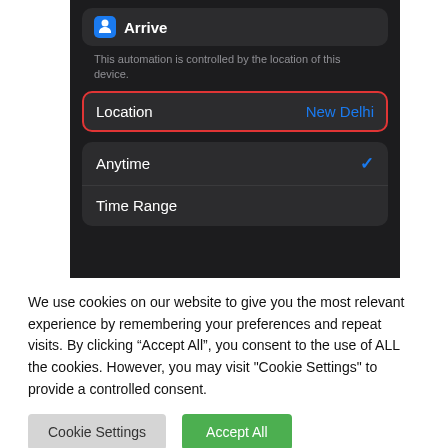[Figure (screenshot): iOS automation settings screen showing Arrive trigger with Location set to New Delhi, and time options Anytime (checked) and Time Range]
We use cookies on our website to give you the most relevant experience by remembering your preferences and repeat visits. By clicking “Accept All”, you consent to the use of ALL the cookies. However, you may visit "Cookie Settings" to provide a controlled consent.
Cookie Settings
Accept All